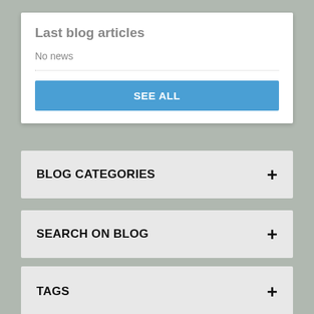Last blog articles
No news
SEE ALL
BLOG CATEGORIES
SEARCH ON BLOG
NEW PRODUCTS
TAGS